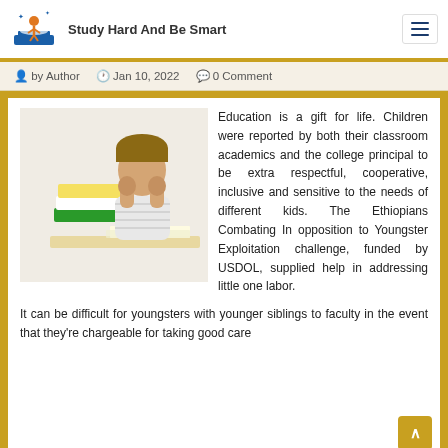Study Hard And Be Smart
by Author   Jan 10, 2022   0 Comment
[Figure (photo): A young boy sitting at a desk with stacked books, covering his face with his hands in a stressed pose.]
Education is a gift for life. Children were reported by both their classroom academics and the college principal to be extra respectful, cooperative, inclusive and sensitive to the needs of different kids. The Ethiopians Combating In opposition to Youngster Exploitation challenge, funded by USDOL, supplied help in addressing little one labor.
It can be difficult for youngsters with younger siblings to faculty in the event that they're chargeable for taking good care